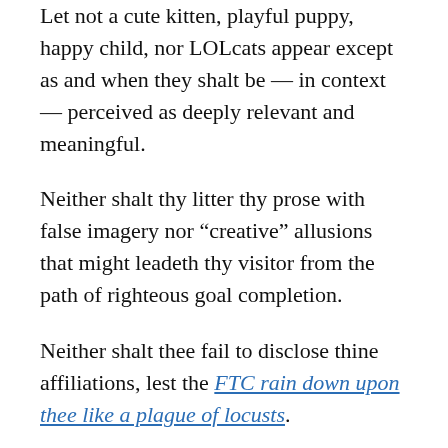Let not a cute kitten, playful puppy, happy child, nor LOLcats appear except as and when they shalt be — in context — perceived as deeply relevant and meaningful.
Neither shalt thy litter thy prose with false imagery nor “creative” allusions that might leadeth thy visitor from the path of righteous goal completion.
Neither shalt thee fail to disclose thine affiliations, lest the FTC rain down upon thee like a plague of locusts.
3. Thou shalt not take the name of an